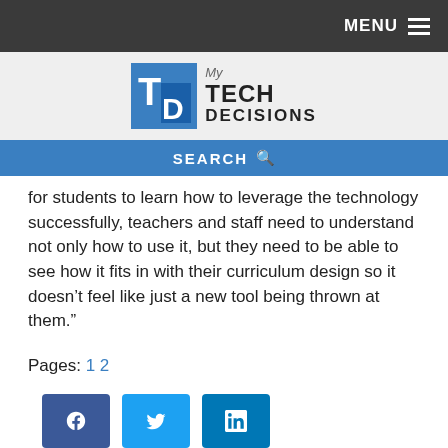MENU
[Figure (logo): My Tech Decisions logo with blue TD square icon and text]
SEARCH
for students to learn how to leverage the technology successfully, teachers and staff need to understand not only how to use it, but they need to be able to see how it fits in with their curriculum design so it doesn’t feel like just a new tool being thrown at them.”
Pages: 1 2
[Figure (other): Social share buttons: Facebook, Twitter, LinkedIn]